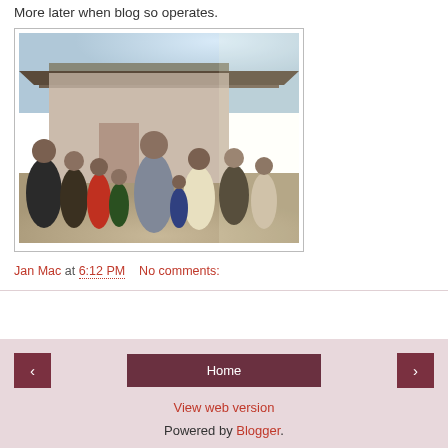More later when blog so operates.
[Figure (photo): A crowd of people gathered outside a building with a corrugated metal roof, including adults and children, appearing to be at a market or community gathering. A man in a grey suit stands prominently in the center.]
Jan Mac at 6:12 PM    No comments:
Home
View web version
Powered by Blogger.